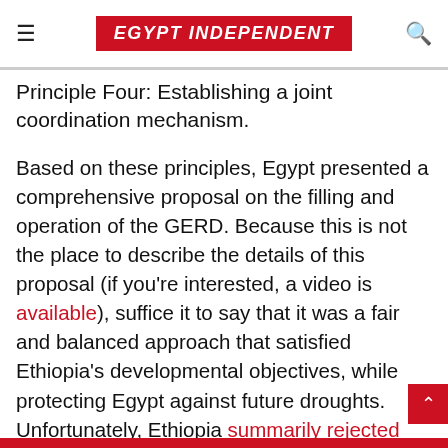EGYPT INDEPENDENT
used to mitigate the effects of floods and prolonged droughts
Principle Four: Establishing a joint coordination mechanism.
Based on these principles, Egypt presented a comprehensive proposal on the filling and operation of the GERD. Because this is not the place to describe the details of this proposal (if you're interested, a video is available), suffice it to say that it was a fair and balanced approach that satisfied Ethiopia's developmental objectives, while protecting Egypt against future droughts. Unfortunately, Ethiopia summarily rejected this Egyptian proposal. In fact, an utterly useless two-day